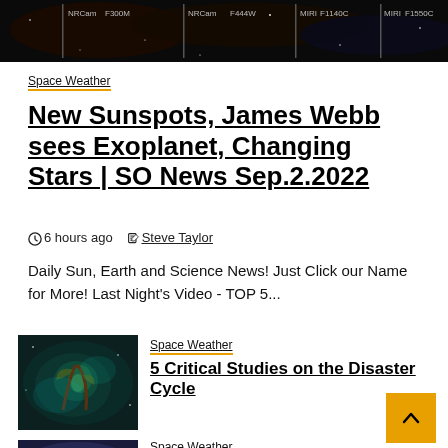[Figure (photo): Dark space/astronomical image with filter labels: NRCam F300M, NRCam F444W, MIRI F1140C, MIRI F1550C]
Space Weather
New Sunspots, James Webb sees Exoplanet, Changing Stars | SO News Sep.2.2022
6 hours ago  Steve Taylor
Daily Sun, Earth and Science News! Just Click our Name for More! Last Night's Video - TOP 5...
[Figure (photo): Nebula/space image with teal and green hues]
Space Weather
5 Critical Studies on the Disaster Cycle
Space Weather